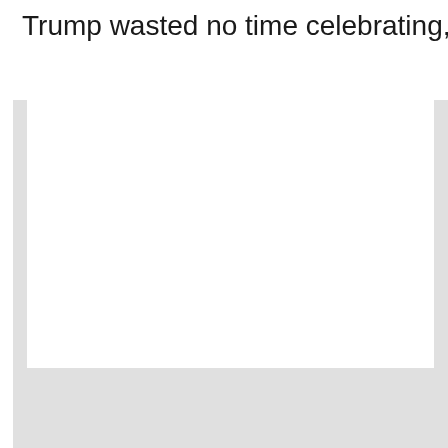Trump wasted no time celebrating, and tweeted
[Figure (screenshot): Embedded screenshot or iframe of a tweet, partially visible with a white card area on a light grey background. A blue accent bar is visible on the right edge.]